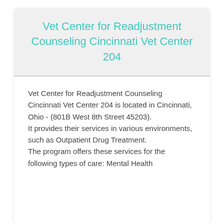Vet Center for Readjustment Counseling Cincinnati Vet Center 204
Vet Center for Readjustment Counseling Cincinnati Vet Center 204 is located in Cincinnati, Ohio - (801B West 8th Street 45203).
It provides their services in various environments, such as Outpatient Drug Treatment.
The program offers these services for the following types of care: Mental Health